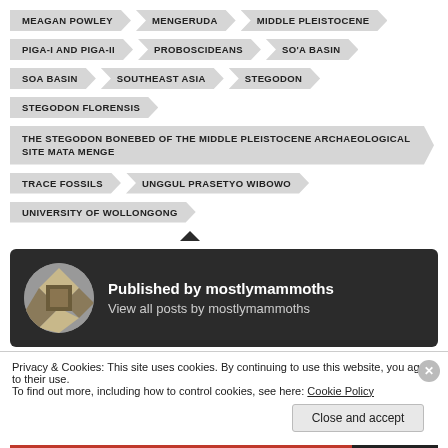MEAGAN POWLEY  MENGERUDA  MIDDLE PLEISTOCENE
PIGA-I AND PIGA-II  PROBOSCIDEANS  SO'A BASIN
SOA BASIN  SOUTHEAST ASIA  STEGODON
STEGODON FLORENSIS
THE STEGODON BONEBED OF THE MIDDLE PLEISTOCENE ARCHAEOLOGICAL SITE MATA MENGE
TRACE FOSSILS  UNGGUL PRASETYO WIBOWO
UNIVERSITY OF WOLLONGONG
[Figure (illustration): Dark card with circular avatar logo (decorative pattern) and text 'Published by mostlymammoths' and 'View all posts by mostlymammoths']
Privacy & Cookies: This site uses cookies. By continuing to use this website, you agree to their use.
To find out more, including how to control cookies, see here: Cookie Policy
Close and accept